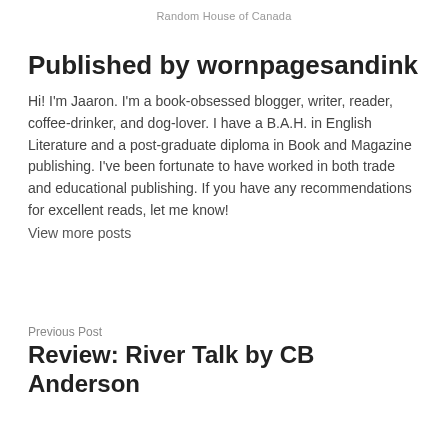Random House of Canada
Published by wornpagesandink
Hi! I'm Jaaron. I'm a book-obsessed blogger, writer, reader, coffee-drinker, and dog-lover. I have a B.A.H. in English Literature and a post-graduate diploma in Book and Magazine publishing. I've been fortunate to have worked in both trade and educational publishing. If you have any recommendations for excellent reads, let me know! View more posts
Previous Post
Review: River Talk by CB Anderson